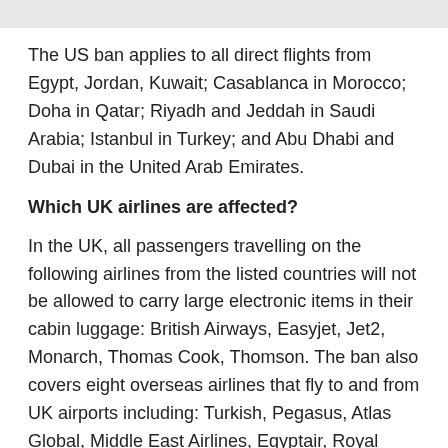The US ban applies to all direct flights from Egypt, Jordan, Kuwait; Casablanca in Morocco; Doha in Qatar; Riyadh and Jeddah in Saudi Arabia; Istanbul in Turkey; and Abu Dhabi and Dubai in the United Arab Emirates.
Which UK airlines are affected?
In the UK, all passengers travelling on the following airlines from the listed countries will not be allowed to carry large electronic items in their cabin luggage: British Airways, Easyjet, Jet2, Monarch, Thomas Cook, Thomson. The ban also covers eight overseas airlines that fly to and from UK airports including: Turkish, Pegasus, Atlas Global, Middle East Airlines, Egyptair, Royal Jordanian, Tunis Air, Saudia.
Incidentally...
You can still take your USB sticks with you which is handy as Emirates is lending passengers on flights from Dubai to the